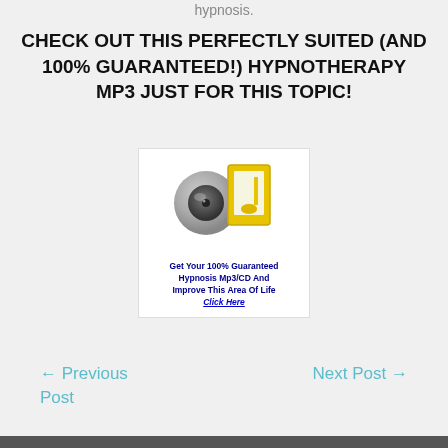hypnosis.
CHECK OUT THIS PERFECTLY SUITED (AND 100% GUARANTEED!) HYPNOTHERAPY MP3 JUST FOR THIS TOPIC!
[Figure (illustration): A cartoon image of a grey speaker/headphone icon with a yellow musical note, accompanied by text: 'Get Your 100% Guaranteed Hypnosis Mp3/CD And Improve This Area Of Life Click Here' in dark blue bold text with 'Click Here' underlined.]
← Previous Post
Next Post →